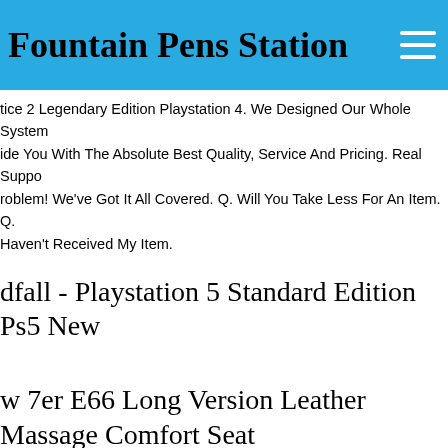Fountain Pens Station
tice 2 Legendary Edition Playstation 4. We Designed Our Whole System to ide You With The Absolute Best Quality, Service And Pricing. Real Suppo roblem! We've Got It All Covered. Q. Will You Take Less For An Item. Q. Haven't Received My Item.
dfall - Playstation 5 Standard Edition Ps5 New
w 7er E66 Long Version Leather Massage Comfort Seat ividual Leather Trim
You Can Find Spare Parts For Your Audi, Vw Or Bmw At Fair Prices 3,0 are Meters Of Storage Space We Work With The Following Partners dwide Bmw 7 Series E66 Long Version Leather Interior "individual" In The r Flanel Gray (special Upholstery (z1xx)) With This Equipment, The Door